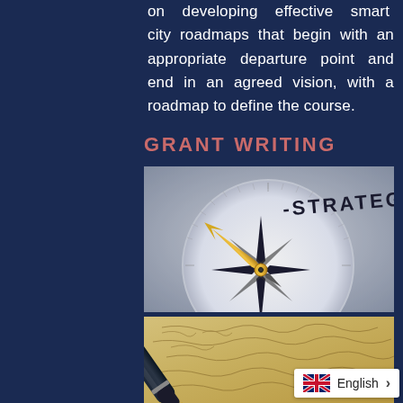on developing effective smart city roadmaps that begin with an appropriate departure point and end in an agreed vision, with a roadmap to define the course.
GRANT WRITING
[Figure (photo): Close-up photograph of a compass with the needle pointing to the word STRATEGY on the compass face, suggesting strategic direction and planning.]
[Figure (photo): Close-up photograph of a gold-tipped fountain pen resting on aged handwritten cursive text on yellowed paper, suggesting grant writing or correspondence.]
English